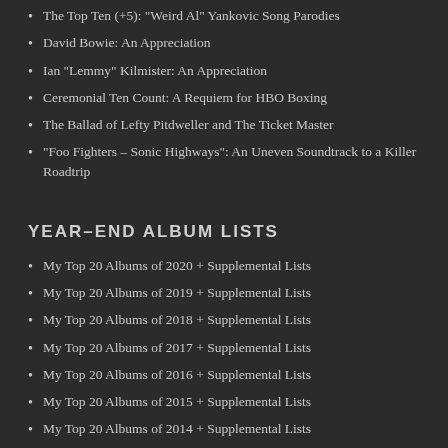The Top Ten (+5): "Weird Al" Yankovic Song Parodies
David Bowie: An Appreciation
Ian "Lemmy" Kilmister: An Appreciation
Ceremonial Ten Count: A Requiem for HBO Boxing
The Ballad of Lefty Pitdweller and The Ticket Master
"Foo Fighters – Sonic Highways": An Uneven Soundtrack to a Killer Roadtrip
Year–End Album Lists
My Top 20 Albums of 2020 + Supplemental Lists
My Top 20 Albums of 2019 + Supplemental Lists
My Top 20 Albums of 2018 + Supplemental Lists
My Top 20 Albums of 2017 + Supplemental Lists
My Top 20 Albums of 2016 + Supplemental Lists
My Top 20 Albums of 2015 + Supplemental Lists
My Top 20 Albums of 2014 + Supplemental Lists
My Top 20 Albums of 2013 + Supplemental Lists